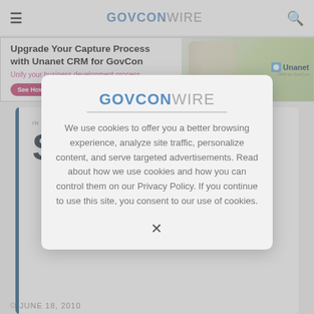GOVCONWIRE
[Figure (screenshot): Unanet CRM for GovCon advertisement banner with text 'Upgrade Your Capture Process with Unanet CRM for GovCon. Unify your business development process. See How.' and Unanet logo.]
[Figure (screenshot): GovConWire cookie consent modal dialog with logo, cookie policy text, and X close button.]
We use cookies to offer you a better browsing experience, analyze site traffic, personalize content, and serve targeted advertisements. Read about how we use cookies and how you can control them on our Privacy Policy. If you continue to use this site, you consent to our use of cookies.
JUNE 18, 2010